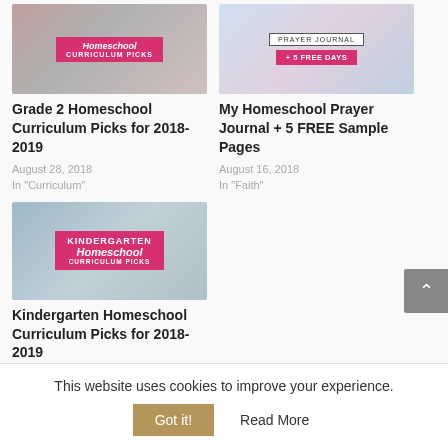[Figure (photo): Thumbnail image for Grade 2 Homeschool Curriculum Picks post with pink badge saying 'Homeschool Curriculum Picks']
Grade 2 Homeschool Curriculum Picks for 2018-2019
August 28, 2018
In "Curriculum"
[Figure (photo): Thumbnail image for My Homeschool Prayer Journal post showing Prayer Journal cover with + 5 Free Days badge]
My Homeschool Prayer Journal + 5 FREE Sample Pages
August 16, 2018
In "Faith"
[Figure (photo): Thumbnail image for Kindergarten Homeschool Curriculum Picks post with pink badge saying 'Kindergarten Homeschool Curriculum Picks']
Kindergarten Homeschool Curriculum Picks for 2018-2019
October 31, 2018
This website uses cookies to improve your experience.
Got it!
Read More